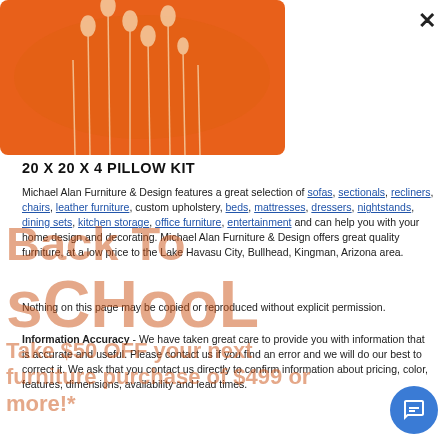[Figure (photo): Orange decorative pillow with abstract light-colored floral/stem design on orange background]
20 X 20 X 4 PILLOW KIT
Michael Alan Furniture & Design features a great selection of sofas, sectionals, recliners, chairs, leather furniture, custom upholstery, beds, mattresses, dressers, nightstands, dining sets, kitchen storage, office furniture, entertainment and can help you with your home design and decorating. Michael Alan Furniture & Design offers great quality furniture, at a low price to the Lake Havasu City, Bullhead, Kingman, Arizona area.
Nothing on this page may be copied or reproduced without explicit permission.
Information Accuracy - We have taken great care to provide you with information that is accurate and useful. Please contact us if you find an error and we will do our best to correct it. We ask that you contact us directly to confirm information about pricing, color, features, dimensions, availability and lead times.
[Figure (infographic): Overlay watermark text reading 'Back To SCHOOL' in large orange semi-transparent letters]
Take $50 OFF your next furniture purchase of $499 or more!*